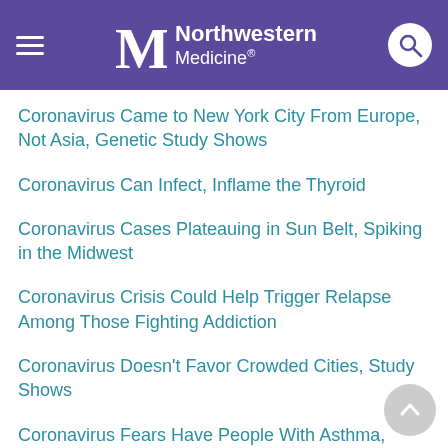Northwestern Medicine
Coronavirus Came to New York City From Europe, Not Asia, Genetic Study Shows
Coronavirus Can Infect, Inflame the Thyroid
Coronavirus Cases Plateauing in Sun Belt, Spiking in the Midwest
Coronavirus Crisis Could Help Trigger Relapse Among Those Fighting Addiction
Coronavirus Doesn't Favor Crowded Cities, Study Shows
Coronavirus Fears Have People With Asthma, Emphysema Avoiding the ER
Coronavirus Hangs Around Even After Symptoms Subside
Coronavirus...